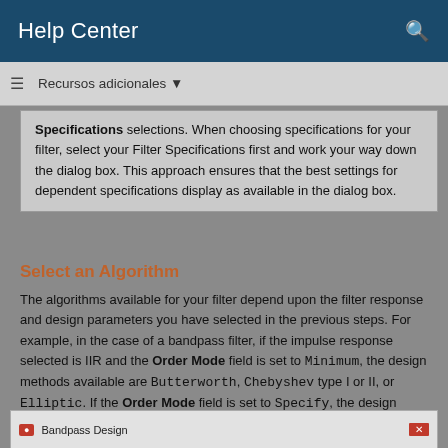Help Center
Recursos adicionales
Specifications selections. When choosing specifications for your filter, select your Filter Specifications first and work your way down the dialog box. This approach ensures that the best settings for dependent specifications display as available in the dialog box.
Select an Algorithm
The algorithms available for your filter depend upon the filter response and design parameters you have selected in the previous steps. For example, in the case of a bandpass filter, if the impulse response selected is IIR and the Order Mode field is set to Minimum, the design methods available are Butterworth, Chebyshev type I or II, or Elliptic. If the Order Mode field is set to Specify, the design method available is IIR least p-norm.
[Figure (screenshot): Bandpass Design dialog box screenshot]